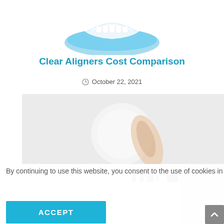[Figure (photo): Dental clear aligner tray in a blue case, partially visible at top of page]
Clear Aligners Cost Comparison
October 22, 2021
[Figure (photo): Close-up photo of a clear dental aligner being held, with blurred text overlay partially visible]
By continuing to use this website, you consent to the use of cookies in accordance with our Privacy Policy
ACCEPT